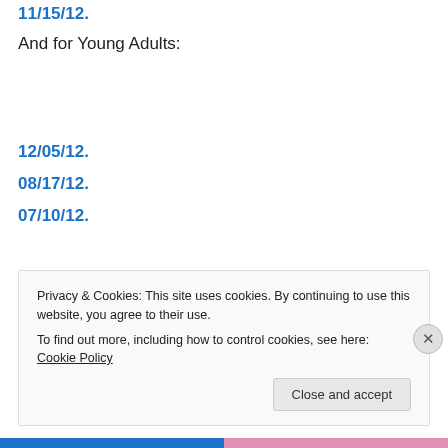11/15/12.
And for Young Adults:
12/05/12.
08/17/12.
07/10/12.
Privacy & Cookies: This site uses cookies. By continuing to use this website, you agree to their use.
To find out more, including how to control cookies, see here: Cookie Policy
Close and accept